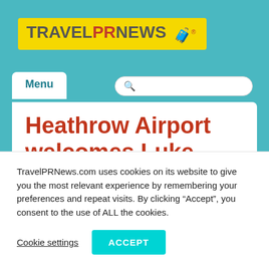[Figure (logo): TravelPRNews logo with yellow background, grey and red text, and a briefcase icon]
Menu
Heathrow Airport welcomes Luke Bugeja
TravelPRNews.com uses cookies on its website to give you the most relevant experience by remembering your preferences and repeat visits. By clicking “Accept”, you consent to the use of ALL the cookies.
Cookie settings  ACCEPT